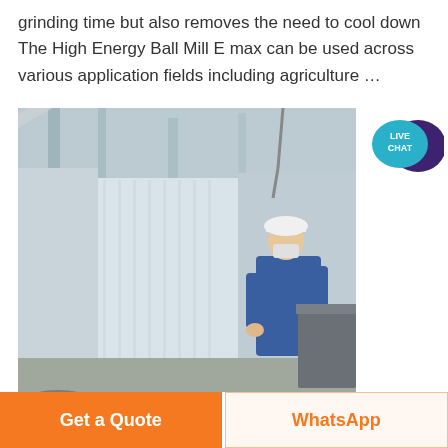grinding time but also removes the need to cool down The High Energy Ball Mill E max can be used across various application fields including agriculture …
[Figure (photo): Industrial conveyor belt carrying dark material (likely coal or crushed ore) inside a factory/warehouse setting. A worker in a white hard hat and blue coveralls with a face mask stands at the right side of the belt.]
Get a Quote
WhatsApp